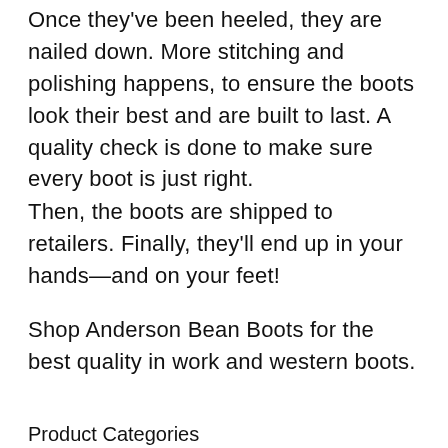Once they've been heeled, they are nailed down. More stitching and polishing happens, to ensure the boots look their best and are built to last. A quality check is done to make sure every boot is just right.
Then, the boots are shipped to retailers. Finally, they'll end up in your hands—and on your feet!
Shop Anderson Bean Boots for the best quality in work and western boots.
Product Categories